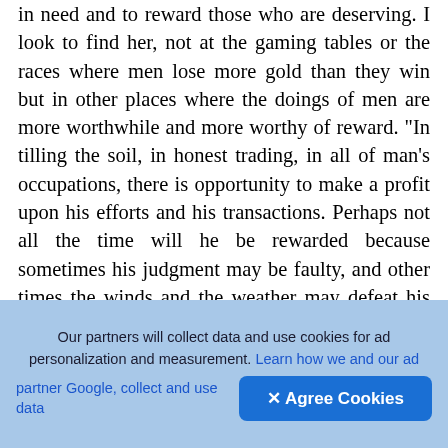in need and to reward those who are deserving. I look to find her, not at the gaming tables or the races where men lose more gold than they win but in other places where the doings of men are more worthwhile and more worthy of reward. "In tilling the soil, in honest trading, in all of man's occupations, there is opportunity to make a profit upon his efforts and his transactions. Perhaps not all the time will he be rewarded because sometimes his judgment may be faulty, and other times the winds and the weather may defeat his efforts. Yet, if he persists, he may usually expect to reap a profit. This is so because the chances of profit are always in his favour. "But, when a man playeth the games, the situation is reversed for the chances of profit are always against him and always in favour of
[Figure (other): Dark rounded square button with a white circle containing an upward arrow icon (upload/navigate button)]
Our partners will collect data and use cookies for ad personalization and measurement. Learn how we and our ad partner Google, collect and use data
✕ Agree Cookies